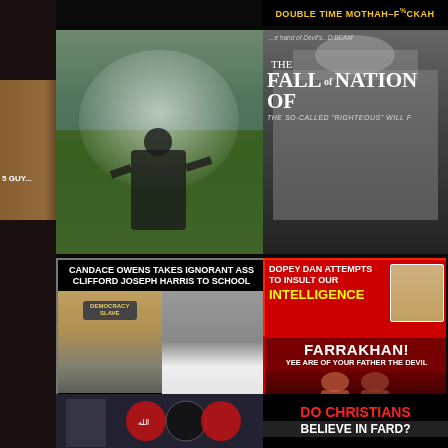[Figure (screenshot): Top right banner with yellow text on black background: DOUBLE TIME MOTHAH-F%CKAH]
[Figure (photo): Preacher or figure on green field with light rays, partial text 'S GUY...']
[Figure (screenshot): Black and white image of building, text: THE FALL OF NATION OF, subtitle: THE SO-CALLED RIGHTEOUS WILL... and top text: ...and of Devil's...D:BEAM]
[Figure (screenshot): Black background meme: CANDACE OWENS TAKES IGNORANT ASS CLIFFORD JOSEPH HARRIS TO SCHOOL. Shows man with DEMOCRACY SLAVE hat labeled TIP COON and woman identified as Candace Owens]
[Figure (screenshot): Red background with text: DOPEY DAN ATTEMPTS TO INSULT OUR INTELLIGENCE. Below: FARRAKHAN! YEE ARE OF YOUR FATHER THE DEVIL, with two men in red-toned image]
[Figure (photo): Bottom left: partial image showing military figure and ISIS-style imagery]
[Figure (screenshot): Bottom right: DO CHRISTIANS BELIEVE IN FARD? in red and white text on black background]